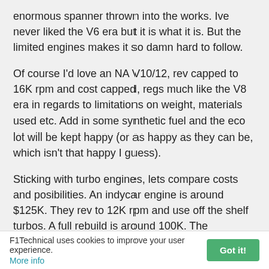enormous spanner thrown into the works. Ive never liked the V6 era but it is what it is. But the limited engines makes it so damn hard to follow.
Of course I'd love an NA V10/12, rev capped to 16K rpm and cost capped, regs much like the V8 era in regards to limitations on weight, materials used etc. Add in some synthetic fuel and the eco lot will be kept happy (or as happy as they can be, which isn't that happy I guess).
Sticking with turbo engines, lets compare costs and posibilities. An indycar engine is around $125K. They rev to 12K rpm and use off the shelf turbos. A full rebuild is around 100K. The Mecachrome V6 in an F2 car is only €80K, needs to be rebuild every 8000km.
A complete F1 engine costs around 13 Million Euros
F1Technical uses cookies to improve your user experience. More info